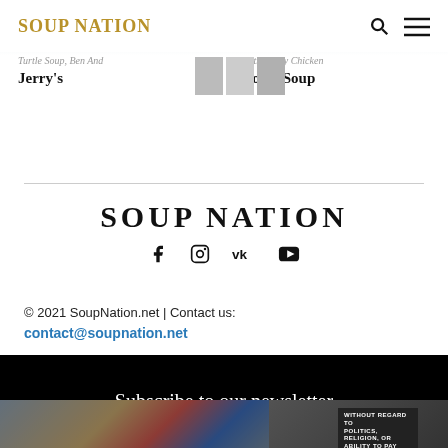SOUP NATION
Turtle Soup, Ben And Jerry's
Health Valley Chicken Noodle Soup
SOUP NATION
© 2021 SoupNation.net | Contact us:
contact@soupnation.net
Subscribe to our newsletter
[Figure (photo): Airplane cargo loading photo at bottom of page with 'WITHOUT REGARD TO' badge overlay]